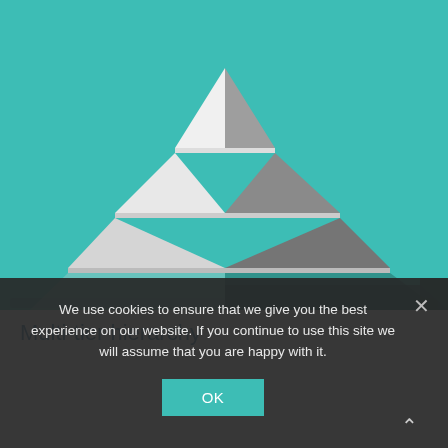[Figure (illustration): A 3D layered pyramid/hierarchy illustration on a teal/turquoise background. The pyramid has multiple tiers: the left face is white/light gray and the right face is dark gray, with teal-colored shadow layers extending to the bottom right, giving a multi-tier stacked appearance.]
Multi-tier hierarchy
We use cookies to ensure that we give you the best experience on our website. If you continue to use this site we will assume that you are happy with it.